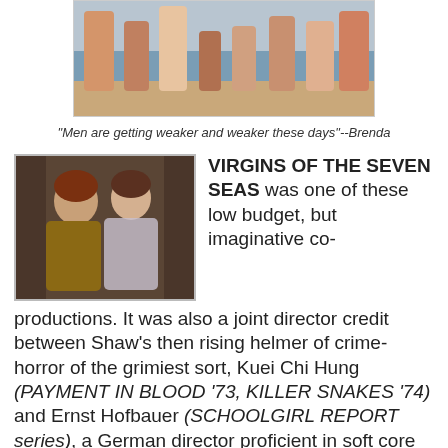[Figure (photo): Top portion of a beach scene photo showing people in swimwear, cropped at top]
"Men are getting weaker and weaker these days"--Brenda
[Figure (photo): Movie still showing two people in costume, a man and woman in period dress]
VIRGINS OF THE SEVEN SEAS was one of these low budget, but imaginative co-productions. It was also a joint director credit between Shaw's then rising helmer of crime-horror of the grimiest sort, Kuei Chi Hung (PAYMENT IN BLOOD '73, KILLER SNAKES '74) and Ernst Hofbauer (SCHOOLGIRL REPORT series), a German director proficient in soft core sex endeavors. This kinky collaboration is an expedition into the